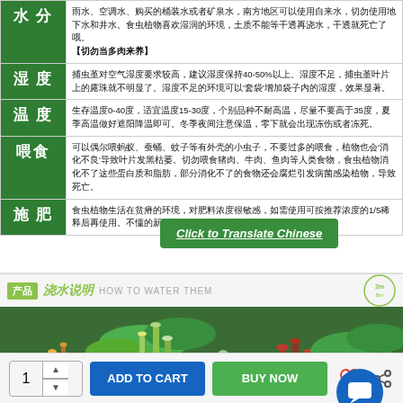| 类别 | 说明 |
| --- | --- |
| 水分 | 雨水、空调水、购买的桶装水或者矿泉水，南方地区可以使用自来水，切勿使用地下水和井水。食虫植物喜欢湿润的环境，土质不能等干透再浇水，干透就死亡了哦。【切勿当多肉来养】 |
| 湿度 | 捕虫堇对空气湿度要求较高，建议湿度保持40-50%以上。湿度不足，捕虫堇叶片上的露珠就不明显了。湿度不足的环境可以'套袋'增加袋子内的湿度，效果显著。 |
| 温度 | 生存温度0-40度，适宜温度15-30度，个别品种不耐高温，尽量不要高于35度，夏季高温做好遮阳降温即可。冬季夜间注意保温，零下就会出现冻伤或者冻死。 |
| 喂食 | 可以偶尔喂蚂蚁、蚕蛹、蚊子等有外壳的小虫子，不要过多的喂食，植物也会'消化不良'导致叶片发黑枯萎。切勿喂食猪肉、牛肉、鱼肉等人类食物，食虫植物消化不了这些蛋白质和脂肪，部分消化不了的食物还会腐烂引发病菌感染植物，导致死亡。 |
| 施肥 | 食虫植物生活在贫瘠的环境，对肥料浓度很敏感，如需使用可按推荐浓度的1/5稀释后再使用。不懂的新手要慎用肥料，浓度过… |
Click to Translate Chinese
产品 浇水说明 HOW TO WATER THEM
[Figure (photo): Photograph of carnivorous plants including pitcher plants and sundews in black pots]
ADD TO CART | BUY NOW